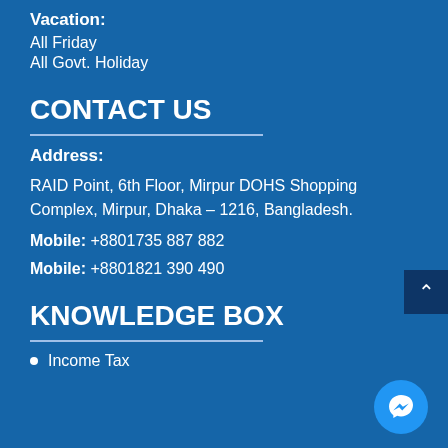Vacation: All Friday All Govt. Holiday
CONTACT US
Address:
RAID Point, 6th Floor, Mirpur DOHS Shopping Complex, Mirpur, Dhaka – 1216, Bangladesh.
Mobile: +8801735 887 882
Mobile: +8801821 390 490
KNOWLEDGE BOX
Income Tax